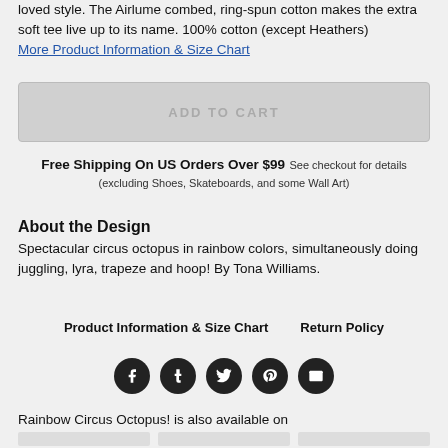loved style. The Airlume combed, ring-spun cotton makes the extra soft tee live up to its name. 100% cotton (except Heathers)
More Product Information & Size Chart
ADD TO CART
Free Shipping On US Orders Over $99 See checkout for details (excluding Shoes, Skateboards, and some Wall Art)
About the Design
Spectacular circus octopus in rainbow colors, simultaneously doing juggling, lyra, trapeze and hoop! By Tona Williams.
Product Information & Size Chart     Return Policy
[Figure (infographic): Row of 5 dark circular social media icons: Facebook, Tumblr, Twitter, Pinterest, Email]
Rainbow Circus Octopus! is also available on